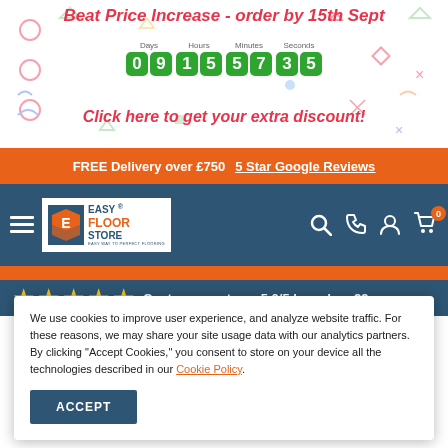Beat Price Increase - order by 15th Sept
[Figure (infographic): Countdown timer showing 09 Days 15 Hours 57 Minutes 35 Seconds in green digit boxes]
Click here to get your extra discount!
FREE Delivery over £750  5 Star Google Reviews
[Figure (logo): Easy Floor Store logo with orange chevron icon and teal text. Navigation bar with hamburger menu, search, phone, account, and cart icons.]
[Figure (infographic): 5 gold stars with text: Customers rate us 5.0/5 based on 29]
We use cookies to improve user experience, and analyze website traffic. For these reasons, we may share your site usage data with our analytics partners. By clicking "Accept Cookies," you consent to store on your device all the technologies described in our Cookie Policy.
ACCEPT